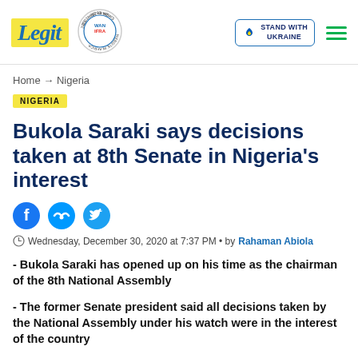Legit | WAN-IFRA 2021 Best News Website in Africa | Stand with Ukraine
Home → Nigeria
NIGERIA
Bukola Saraki says decisions taken at 8th Senate in Nigeria's interest
Wednesday, December 30, 2020 at 7:37 PM • by Rahaman Abiola
- Bukola Saraki has opened up on his time as the chairman of the 8th National Assembly
- The former Senate president said all decisions taken by the National Assembly under his watch were in the interest of the country